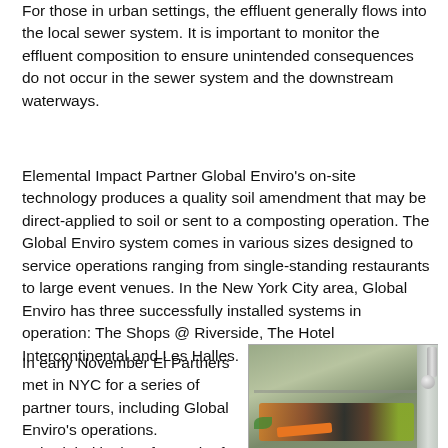For those in urban settings, the effluent generally flows into the local sewer system. It is important to monitor the effluent composition to ensure unintended consequences do not occur in the sewer system and the downstream waterways.
Elemental Impact Partner Global Enviro's on-site technology produces a quality soil amendment that may be direct-applied to soil or sent to a composting operation. The Global Enviro system comes in various sizes designed to service operations ranging from single-standing restaurants to large event venues. In the New York City area, Global Enviro has three successfully installed systems in operation: The Shops @ Riverside, The Hotel Intercontinental and Les Halles.
In early November Ei Partners met in NYC for a series of partner tours, including Global Enviro's operations.  Scheduled in the aftermath of Hurricane Sandy, the touring group
[Figure (photo): A photo showing food waste composting equipment — a metal tray or bin containing food scraps including orange vegetable pieces, dark mussel shells, and green leaf pieces, set in a stainless steel or metal unit.]